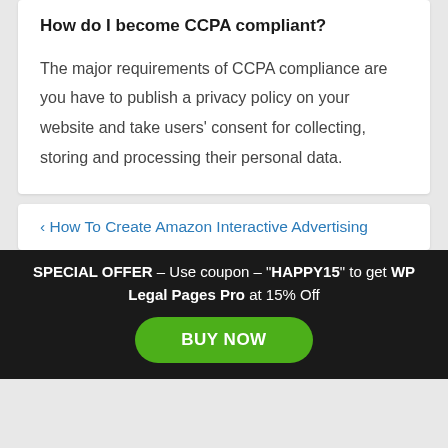How do I become CCPA compliant?
The major requirements of CCPA compliance are you have to publish a privacy policy on your website and take users' consent for collecting, storing and processing their personal data.
‹ How To Create Amazon Interactive Advertising
SPECIAL OFFER – Use coupon – "HAPPY15" to get WP Legal Pages Pro at 15% Off
BUY NOW